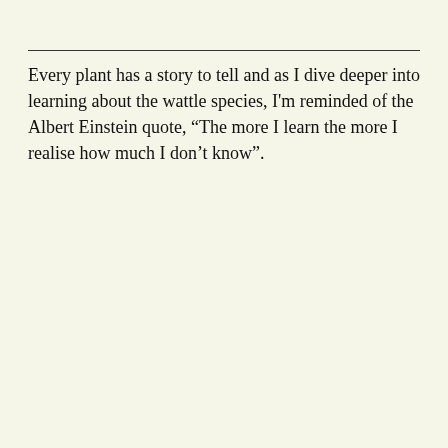Every plant has a story to tell and as I dive deeper into learning about the wattle species, I'm reminded of the Albert Einstein quote, “The more I learn the more I realise how much I don’t know”.